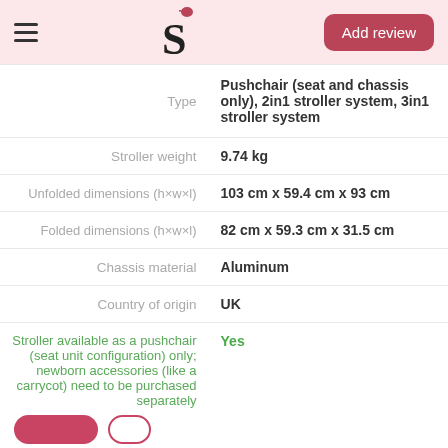Add review
| Label | Value |
| --- | --- |
| Type | Pushchair (seat and chassis only), 2in1 stroller system, 3in1 stroller system |
| Stroller weight | 9.74 kg |
| Unfolded dimensions (h×w×l) | 103 cm x 59.4 cm x 93 cm |
| Folded dimensions (h×w×l) | 82 cm x 59.3 cm x 31.5 cm |
| Chassis material | Aluminum |
| Country of origin | UK |
| Stroller available as a pushchair (seat unit configuration) only; newborn accessories (like a carrycot) need to be purchased separately | Yes |